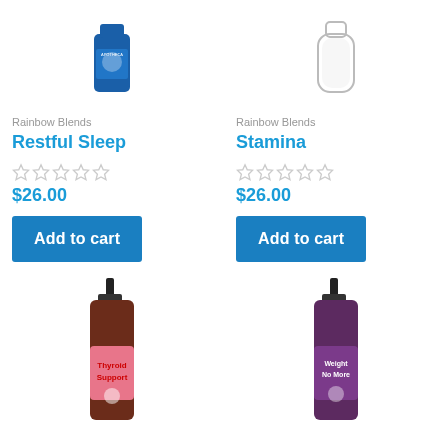[Figure (photo): Blue product bottle for Restful Sleep by Rainbow Blends, top portion visible]
Rainbow Blends
Restful Sleep
☆☆☆☆☆
$26.00
Add to cart
[Figure (photo): Clear/white product bottle for Stamina by Rainbow Blends, top portion visible]
Rainbow Blends
Stamina
☆☆☆☆☆
$26.00
Add to cart
[Figure (photo): Brown spray bottle with pink label reading Thyroid Support]
[Figure (photo): Brown spray bottle with purple label reading Weight No More]